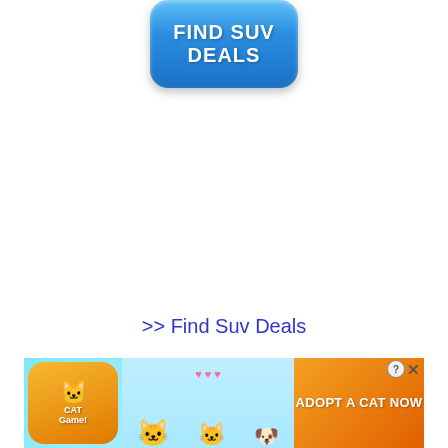[Figure (other): Blue rounded rectangle button with white bold text reading FIND SUV DEALS]
>> Find Suv Deals
[Figure (other): Mobile game advertisement banner for Cat Game showing cartoon cats with text ADOPT A CAT NOW on orange background, with close (X) and info (?) buttons]